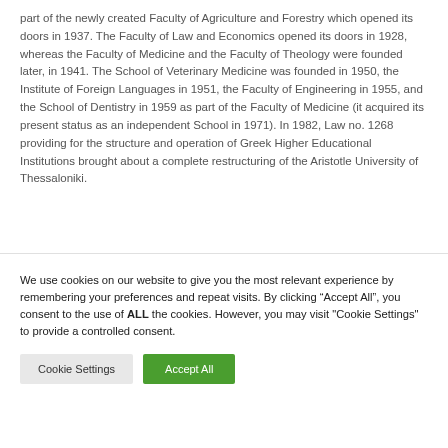part of the newly created Faculty of Agriculture and Forestry which opened its doors in 1937. The Faculty of Law and Economics opened its doors in 1928, whereas the Faculty of Medicine and the Faculty of Theology were founded later, in 1941. The School of Veterinary Medicine was founded in 1950, the Institute of Foreign Languages in 1951, the Faculty of Engineering in 1955, and the School of Dentistry in 1959 as part of the Faculty of Medicine (it acquired its present status as an independent School in 1971). In 1982, Law no. 1268 providing for the structure and operation of Greek Higher Educational Institutions brought about a complete restructuring of the Aristotle University of Thessaloniki.
We use cookies on our website to give you the most relevant experience by remembering your preferences and repeat visits. By clicking "Accept All", you consent to the use of ALL the cookies. However, you may visit "Cookie Settings" to provide a controlled consent.